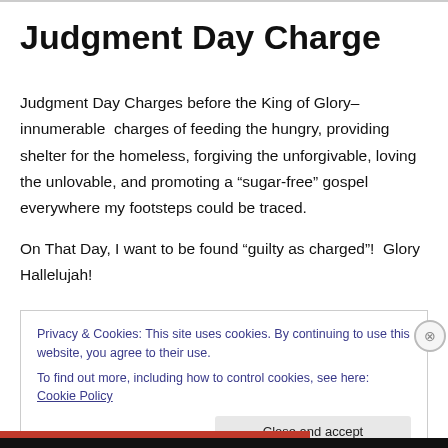Judgment Day Charge
Judgment Day Charges before the King of Glory–innumerable charges of feeding the hungry, providing shelter for the homeless, forgiving the unforgivable, loving the unlovable, and promoting a “sugar-free” gospel everywhere my footsteps could be traced.
On That Day, I want to be found “guilty as charged”!  Glory Hallelujah!
Privacy & Cookies: This site uses cookies. By continuing to use this website, you agree to their use.
To find out more, including how to control cookies, see here: Cookie Policy